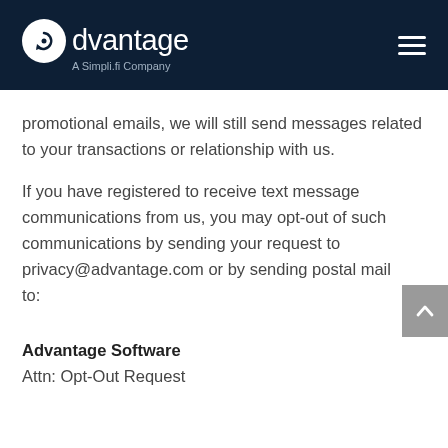advantage — A Simpli.fi Company
promotional emails, we will still send messages related to your transactions or relationship with us.
If you have registered to receive text message communications from us, you may opt-out of such communications by sending your request to privacy@advantage.com or by sending postal mail to:
Advantage Software
Attn: Opt-Out Request